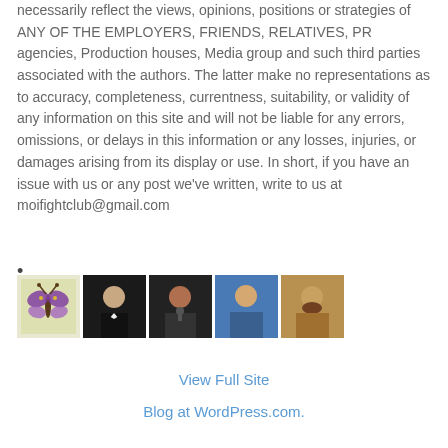necessarily reflect the views, opinions, positions or strategies of ANY OF THE EMPLOYERS, FRIENDS, RELATIVES, PR agencies, Production houses, Media group and such third parties associated with the authors. The latter make no representations as to accuracy, completeness, currentness, suitability, or validity of any information on this site and will not be liable for any errors, omissions, or delays in this information or any losses, injuries, or damages arising from its display or use. In short, if you have an issue with us or any post we've written, write to us at moifightclub@gmail.com
•
[Figure (photo): Row of five avatar/profile images: a butterfly icon, a man in a tuxedo, a man at a microphone, a man in a blue shirt, and a bearded man]
View Full Site
Blog at WordPress.com.